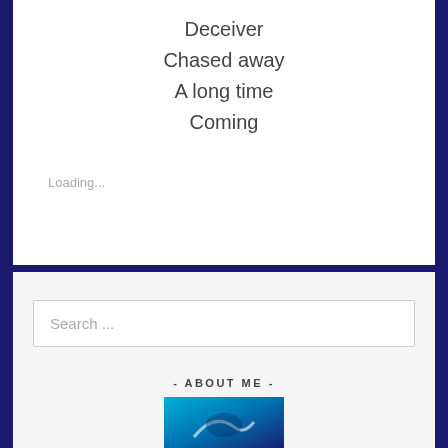Deceiver
Chased away
A long time
Coming
Loading...
Search ...
- ABOUT ME -
[Figure (photo): Thumbnail image with blue/teal gradient, partially visible]